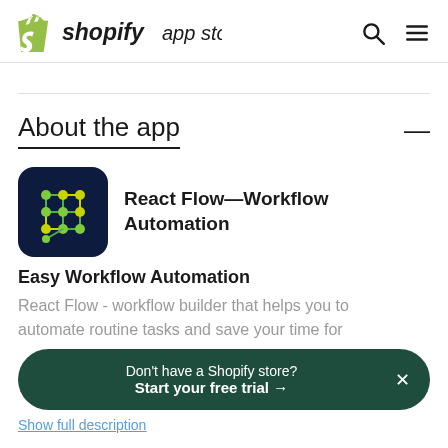shopify app store
About the app
[Figure (logo): React Flow Workflow Automation app icon: dark navy background with green and yellow dot-grid network diagram]
React Flow—Workflow Automation
Easy Workflow Automation
React Flow - workflow builder that helps you to automate routine tasks and save your time for
Don't have a Shopify store?
Start your free trial →
Show full description